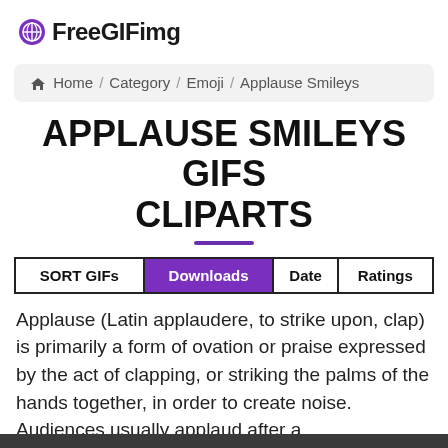FreeGIFimg
Home / Category / Emoji / Applause Smileys
APPLAUSE SMILEYS GIFS CLIPARTS
| SORT GIFs | Downloads | Date | Ratings |
| --- | --- | --- | --- |
Applause (Latin applaudere, to strike upon, clap) is primarily a form of ovation or praise expressed by the act of clapping, or striking the palms of the hands together, in order to create noise. Audiences usually applaud after a